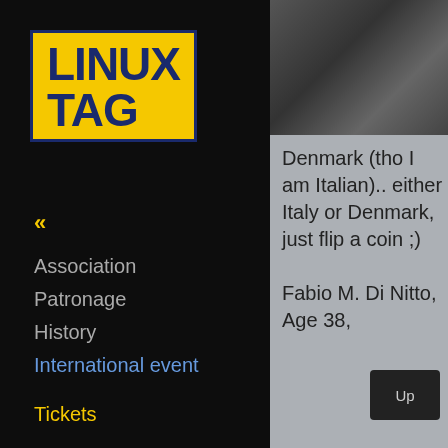[Figure (logo): LinuxTag logo: yellow box with dark blue border containing the text LINUX TAG in bold dark blue letters]
«
Association
Patronage
History
International event
Tickets
[Figure (photo): Partial photo of a person wearing a dark jacket, cropped to show upper body and neck area]
Denmark (tho I am Italian).. either Italy or Denmark, just flip a coin ;)

Fabio M. Di Nitto, Age 38,
Up